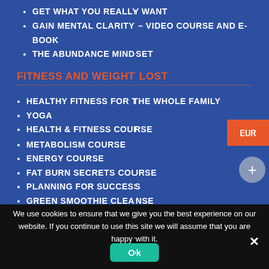GET WHAT YOU REALLY WANT
GAIN MENTAL CLARITY – VIDEO COURSE AND E-BOOK
THE ABUNDANCE MINDSET
FITNESS AND WEIGHT LOST
HEALTHY FITNESS FOR THE WHOLE FAMILY
YOGA
HEALTH & FITNESS COURSE
METABOLISM COURSE
ENERGY COURSE
FAT BURN SECRETS COURSE
PLANNING FOR SUCCESS
GREEN SMOOTHIE CLEANSE
THE RUNNING MANUAL
SELF-DISCIPLINE
We use cookies to ensure that we give you the best experience on our website. If you continue to use this site we will assume that you are happy with it.
Ok
EUR